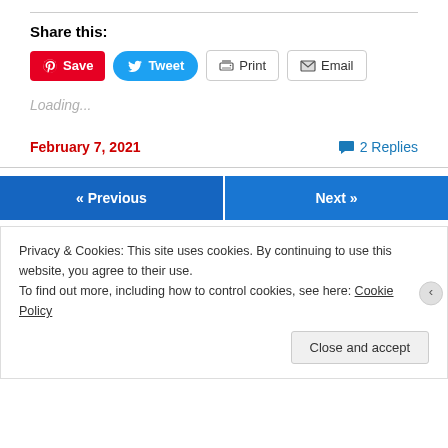Share this:
[Figure (screenshot): Share buttons: Save (Pinterest, red), Tweet (Twitter, blue), Print (grey outline), Email (grey outline)]
Loading...
February 7, 2021   2 Replies
[Figure (screenshot): Navigation buttons: « Previous (blue) and Next » (blue)]
Privacy & Cookies: This site uses cookies. By continuing to use this website, you agree to their use.
To find out more, including how to control cookies, see here: Cookie Policy
Close and accept